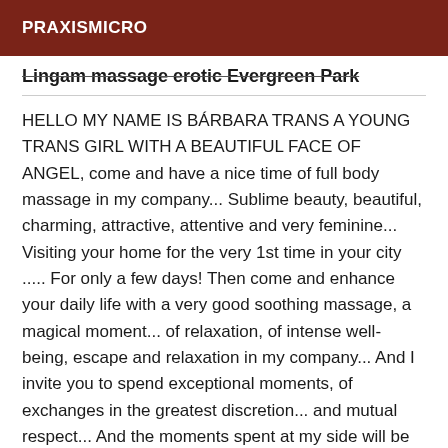PRAXISMICRO
Lingam massage erotic Evergreen Park
HELLO MY NAME IS BÁRBARA TRANS A YOUNG TRANS GIRL WITH A BEAUTIFUL FACE OF ANGEL, come and have a nice time of full body massage in my company... Sublime beauty, beautiful, charming, attractive, attentive and very feminine... Visiting your home for the very 1st time in your city ..... For only a few days! Then come and enhance your daily life with a very good soothing massage, a magical moment... of relaxation, of intense well-being, escape and relaxation in my company... And I invite you to spend exceptional moments, of exchanges in the greatest discretion... and mutual respect... And the moments spent at my side will be privileged! I am sparkling with dreamy eyes and a velvet skin, . My apartment is discreet, quiet, perfect hygiene and easy for you to park. NB: All my photos are authentic! You will be able to verify it by yourself... 100% REAL